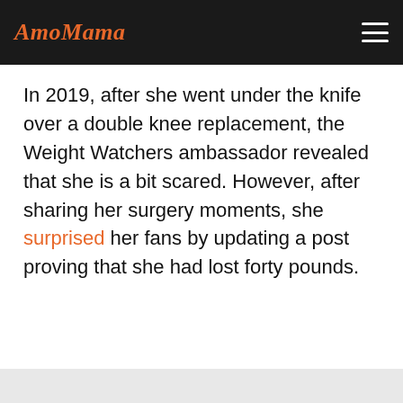AmoMama
In 2019, after she went under the knife over a double knee replacement, the Weight Watchers ambassador revealed that she is a bit scared. However, after sharing her surgery moments, she surprised her fans by updating a post proving that she had lost forty pounds.